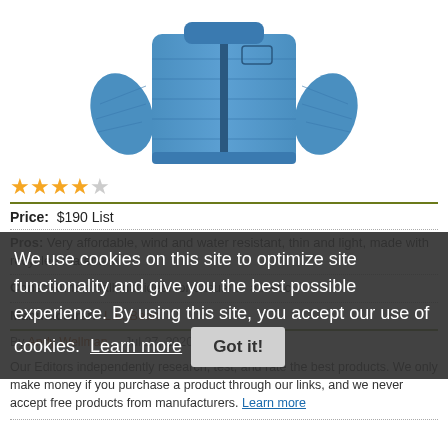[Figure (photo): Blue quilted down jacket photographed from the front on a white background]
[Figure (other): Four filled gold stars and one empty star (4 out of 5 star rating)]
Price: $190 List
Pros: Very affordable, wind and water resistant, thin and light, made with recycled materials.
Cons: Runs small, not ideal for casual or athletic
Manufacturer: L.L. Bean
By Andy Wellman · Jul 27, 2020
Our Editors independently research, test, and rate the best products. We only make money if you purchase a product through our links, and we never accept free products from manufacturers. Learn more
We use cookies on this site to optimize site functionality and give you the best possible experience. By using this site, you accept our use of cookies. Learn more